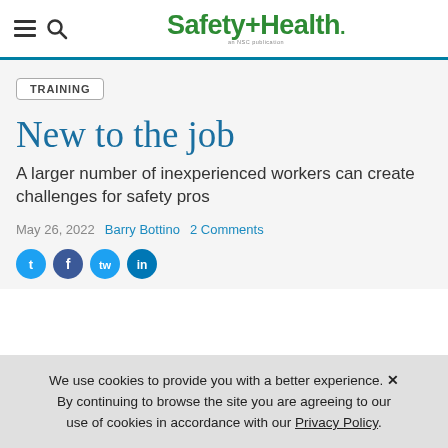Safety+Health
TRAINING
New to the job
A larger number of inexperienced workers can create challenges for safety pros
May 26, 2022  Barry Bottino  2 Comments
We use cookies to provide you with a better experience. By continuing to browse the site you are agreeing to our use of cookies in accordance with our Privacy Policy.